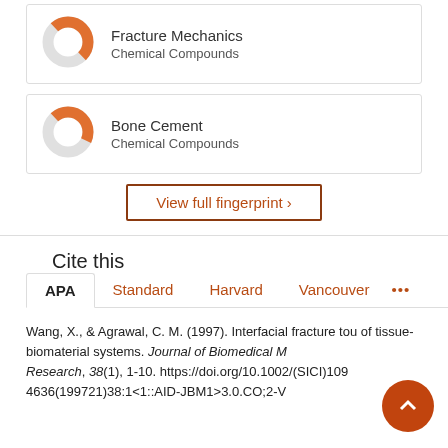[Figure (donut-chart): Donut chart icon representing Fracture Mechanics, approximately 50% filled in orange]
Fracture Mechanics
Chemical Compounds
[Figure (donut-chart): Donut chart icon representing Bone Cement, approximately 45% filled in orange]
Bone Cement
Chemical Compounds
View full fingerprint ›
Cite this
APA  Standard  Harvard  Vancouver  ...
Wang, X., & Agrawal, C. M. (1997). Interfacial fracture toughness of tissue-biomaterial systems. Journal of Biomedical Materials Research, 38(1), 1-10. https://doi.org/10.1002/(SICI)1097-4636(199721)38:1<1::AID-JBM1>3.0.CO;2-V